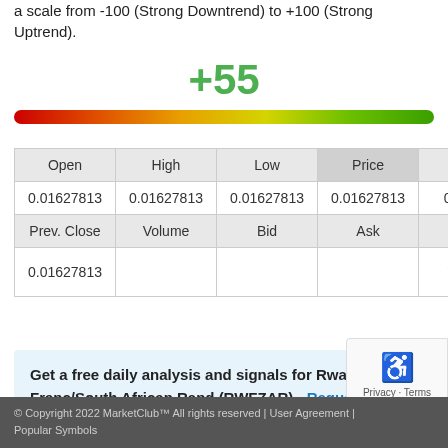a scale from -100 (Strong Downtrend) to +100 (Strong Uptrend).
[Figure (infographic): Score indicator showing +55 in green text above a horizontal gradient color bar ranging from red (left) to green (right), representing market trend strength.]
| Open | High | Low | Price | Chan... |
| --- | --- | --- | --- | --- |
| 0.01627813 | 0.01627813 | 0.01627813 | 0.01627813 | 0.00000... |
| Prev. Close | Volume | Bid | Ask | Tim... |
| 0.01627813 |  |  |  | 2022-0... 03:47 |
Get a free daily analysis and signals for Rwandan Franc/South African Rand (RWFZAR) - Request Your Free Report.
© Copyright 2022 MarketClub™ All rights reserved | User Agreement | Popular Symbols